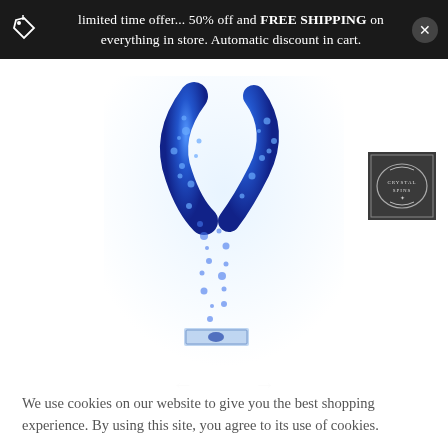limited time offer... 50% off and FREE SHIPPING on everything in store. Automatic discount in cart.
[Figure (photo): A blue crystal or glass sculpture shaped like a letter Y or a tree branch, covered in blue crystal/mineral formations, mounted on a clear rectangular base. A small brand logo thumbnail (Crystal Spins) is visible in the lower right of the image area.]
We use cookies on our website to give you the best shopping experience. By using this site, you agree to its use of cookies.
I agree